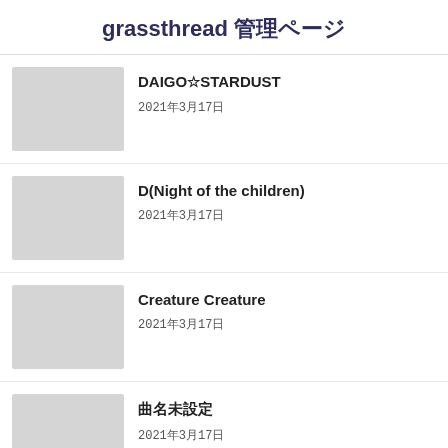grassthread 管理ページ
DAIGO☆STARDUST
2021年3月17日
D(Night of the children)
2021年3月17日
Creature Creature
2021年3月17日
曲名未設定
2021年3月17日
< 前のページ
LASTLIP >
Twitter でシェアする ツイートする